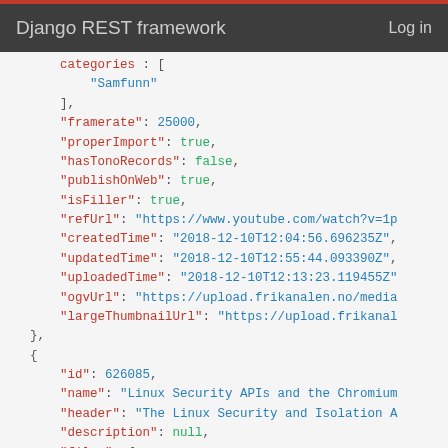Django REST framework   Log in
categories : [
    "Samfunn"
],
"framerate": 25000,
"properImport": true,
"hasTonoRecords": false,
"publishOnWeb": true,
"isFiller": true,
"refUrl": "https://www.youtube.com/watch?v=1p
"createdTime": "2018-12-10T12:04:56.696235Z",
"updatedTime": "2018-12-10T12:55:44.093390Z",
"uploadedTime": "2018-12-10T12:13:23.119455Z"
"ogvUrl": "https://upload.frikanalen.no/media
"largeThumbnailUrl": "https://upload.frikanal
},
{
    "id": 626085,
    "name": "Linux Security APIs and the Chromium
    "header": "The Linux Security and Isolation A
    "description": null,
    "files": {
        "theora": "https://upload.frikanalen.no/m
        "broadcast": "https://upload.frikanalen.n